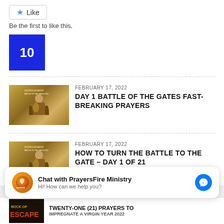Like
Be the first to like this.
[Figure (other): Blue square with number 10]
[Figure (illustration): Warrior/gladiator thumbnail for Day 1 Battle of the Gates article]
FEBRUARY 17, 2022
DAY 1 BATTLE OF THE GATES FAST-BREAKING PRAYERS
[Figure (illustration): Warrior/gladiator thumbnail for How to Turn the Battle article]
FEBRUARY 17, 2022
HOW TO TURN THE BATTLE TO THE GATE – DAY 1 OF 21
Chat with PrayersFire Ministry
Hi! How can we help you?
TWENTY-ONE (21) PRAYERS TO IMPREGNATE A VIRGIN YEAR 2022